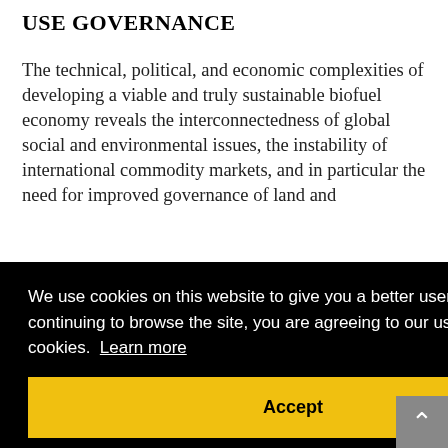USE GOVERNANCE
The technical, political, and economic complexities of developing a viable and truly sustainable biofuel economy reveals the interconnectedness of global social and environmental issues, the instability of international commodity markets, and in particular the need for improved governance of land and
[Figure (screenshot): Cookie consent overlay with black background. Text reads: 'We use cookies on this website to give you a better user experience. By continuing to browse the site, you are agreeing to our use of cookies. Learn more' with a yellow Accept button below.]
Despite the emphasis on policies in consumer